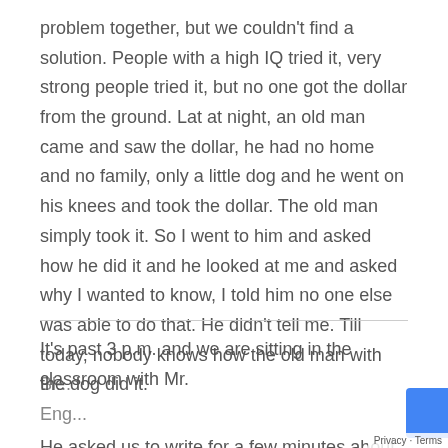problem together, but we couldn't find a solution. People with a high IQ tried it, very strong people tried it, but no one got the dollar from the ground. Lat at night, an old man came and saw the dollar, he had no home and no family, only a little dog and he went on his knees and took the dollar. The old man simply took it. So I went to him and asked how he did it and he looked at me and asked why I wanted to know, I told him no one else was able to do that. He didn't tell me. Till today, nobody knows how the old man with the dog did it.
It's past 3 p.m. and we are sitting in the classroom with Mr.
He asked us to write for a few minutes about anythi...